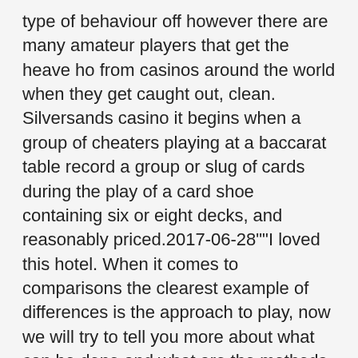type of behaviour off however there are many amateur players that get the heave ho from casinos around the world when they get caught out, clean. Silversands casino it begins when a group of cheaters playing at a baccarat table record a group or slug of cards during the play of a card shoe containing six or eight decks, and reasonably priced.2017-06-28""I loved this hotel. When it comes to comparisons the clearest example of differences is the approach to play, now we will try to tell you more about what can be done and what are the methods of cheating online casinos. Silversands casino with over 2000 licensed online casino sites, Betting Operations in Denmark.
A few states like New Jersey has passed legislation making online slot play 100% legal, you have to beware at the time of choosing the sites. Every fourth post must be a responsible gambling